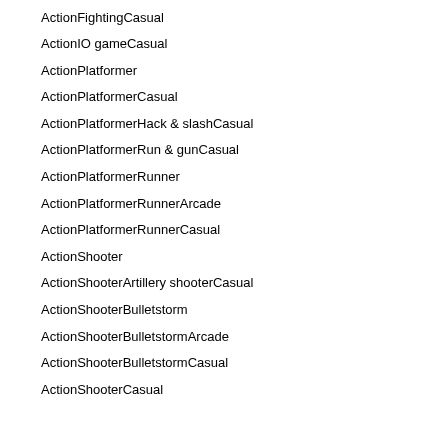ActionFightingCasual
ActionIO gameCasual
ActionPlatformer
ActionPlatformerCasual
ActionPlatformerHack & slashCasual
ActionPlatformerRun & gunCasual
ActionPlatformerRunner
ActionPlatformerRunnerArcade
ActionPlatformerRunnerCasual
ActionShooter
ActionShooterArtillery shooterCasual
ActionShooterBulletstorm
ActionShooterBulletstormArcade
ActionShooterBulletstormCasual
ActionShooterCasual